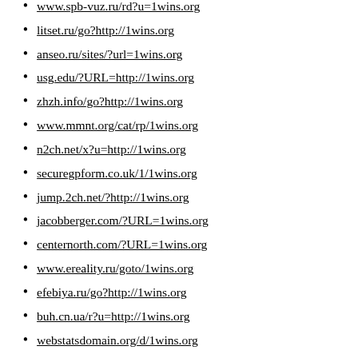www.spb-vuz.ru/rd?u=1wins.org
litset.ru/go?http://1wins.org
anseo.ru/sites/?url=1wins.org
usg.edu/?URL=http://1wins.org
zhzh.info/go?http://1wins.org
www.mmnt.org/cat/rp/1wins.org
n2ch.net/x?u=http://1wins.org
securegpform.co.uk/1/1wins.org
jump.2ch.net/?http://1wins.org
jacobberger.com/?URL=1wins.org
centernorth.com/?URL=1wins.org
www.ereality.ru/goto/1wins.org
efebiya.ru/go?http://1wins.org
buh.cn.ua/r?u=http://1wins.org
webstatsdomain.org/d/1wins.org
damki.net/go/?http://1wins.org
athemes.ru/go?http://1wins.org
idli.st/go/?u=http://1wins.org
sc.devb.gov.hk/TuniS/1wins.org